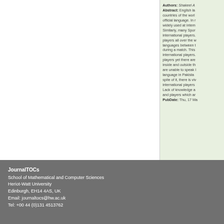Authors: Shakeel A… Abstract: English language is spoken in many countries of the world as first or official language. In many fields it is widely used at international level. Similarly, many Sports also have international players. There are players all over the world who speak languages between themselves during a match. This creates a barrier for international players. Cricket also has players yet there are communication issues inside and outside the field. They are unable to speak English as the language in Pakistan is Urdu and in spite of it, there is vividly noticed that international players … Lack of knowledge and players which are… PubDate: Thu, 17 Ma…
JournalTOCs
School of Mathematical and Computer Sciences
Heriot-Watt University
Edinburgh, EH14 4AS, UK
Email: journaltocs@hw.ac.uk
Tel: +00 44 (0)131 4513762